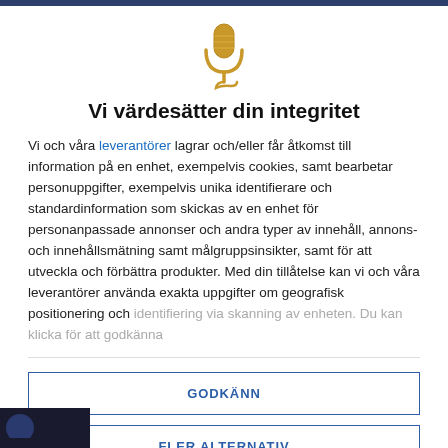[Figure (logo): Gold microphone icon with cord]
Vi värdesätter din integritet
Vi och våra leverantörer lagrar och/eller får åtkomst till information på en enhet, exempelvis cookies, samt bearbetar personuppgifter, exempelvis unika identifierare och standardinformation som skickas av en enhet för personanpassade annonser och andra typer av innehåll, annons- och innehållsmätning samt målgruppsinsikter, samt för att utveckla och förbättra produkter. Med din tillåtelse kan vi och våra leverantörer använda exakta uppgifter om geografisk positionering och identifiering via skanning av enheten. Du kan klicka för att godkänna
GODKÄNN
FLER ALTERNATIV